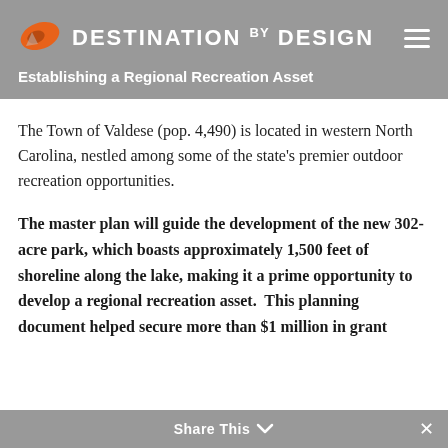DESTINATION BY DESIGN — Establishing a Regional Recreation Asset
The Town of Valdese (pop. 4,490) is located in western North Carolina, nestled among some of the state's premier outdoor recreation opportunities.
The master plan will guide the development of the new 302-acre park, which boasts approximately 1,500 feet of shoreline along the lake, making it a prime opportunity to develop a regional recreation asset.  This planning document helped secure more than $1 million in grant
Share This